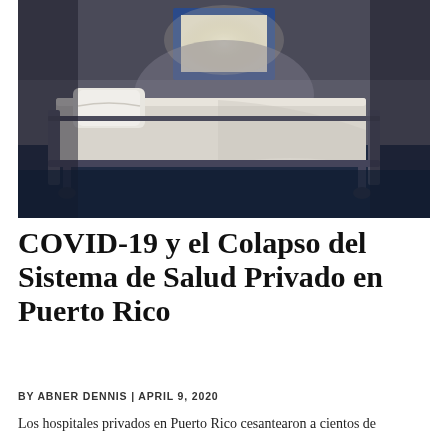[Figure (photo): Dark photograph of an empty hospital bed with white sheets and pillow in a dim room with a blue-framed window letting in light from above. The floor is dark blue. The metal bed frame is visible with wheels.]
COVID-19 y el Colapso del Sistema de Salud Privado en Puerto Rico
BY ABNER DENNIS | APRIL 9, 2020
Los hospitales privados en Puerto Rico cesantearon a cientos de